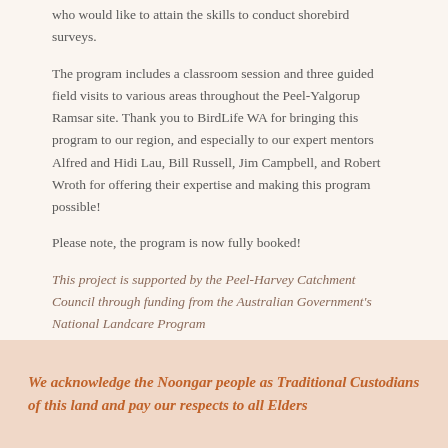who would like to attain the skills to conduct shorebird surveys.
The program includes a classroom session and three guided field visits to various areas throughout the Peel-Yalgorup Ramsar site. Thank you to BirdLife WA for bringing this program to our region, and especially to our expert mentors Alfred and Hidi Lau, Bill Russell, Jim Campbell, and Robert Wroth for offering their expertise and making this program possible!
Please note, the program is now fully booked!
This project is supported by the Peel-Harvey Catchment Council through funding from the Australian Government's National Landcare Program
We acknowledge the Noongar people as Traditional Custodians of this land and pay our respects to all Elders